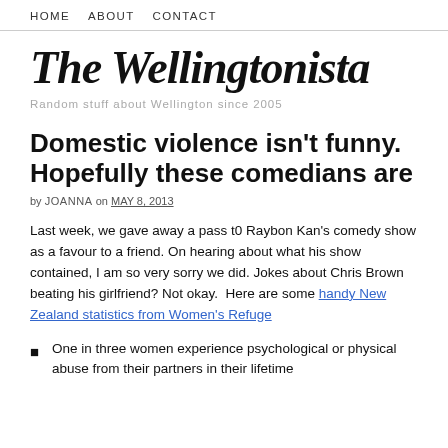HOME   ABOUT   CONTACT
The Wellingtonista
Random stuff about Wellington since 2005
Domestic violence isn’t funny. Hopefully these comedians are
by JOANNA on MAY 8, 2013
Last week, we gave away a pass t0 Raybon Kan’s comedy show as a favour to a friend. On hearing about what his show contained, I am so very sorry we did. Jokes about Chris Brown beating his girlfriend? Not okay.  Here are some handy New Zealand statistics from Women’s Refuge
One in three women experience psychological or physical abuse from their partners in their lifetime